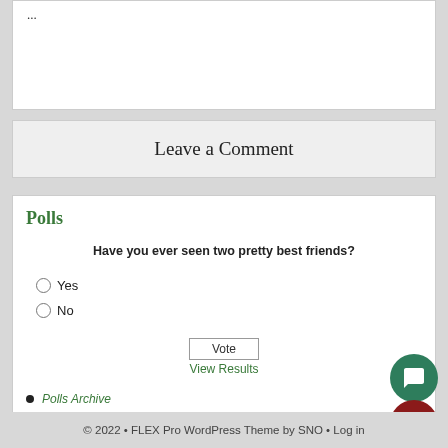...
Leave a Comment
Polls
Have you ever seen two pretty best friends?
Yes
No
Vote
View Results
Polls Archive
© 2022 • FLEX Pro WordPress Theme by SNO • Log in